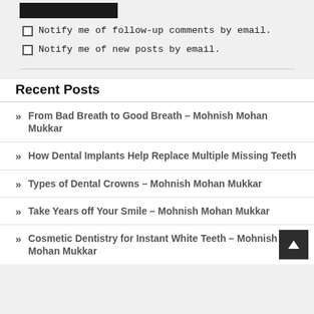[Figure (other): Dark rectangular image placeholder at top]
Notify me of follow-up comments by email.
Notify me of new posts by email.
Recent Posts
» From Bad Breath to Good Breath – Mohnish Mohan Mukkar
» How Dental Implants Help Replace Multiple Missing Teeth
» Types of Dental Crowns – Mohnish Mohan Mukkar
» Take Years off Your Smile – Mohnish Mohan Mukkar
» Cosmetic Dentistry for Instant White Teeth – Mohnish Mohan Mukkar